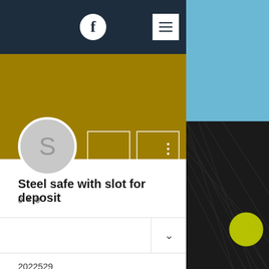[Figure (screenshot): Facebook page screenshot showing navigation bar with Facebook icon and hamburger menu, gold banner with two outline boxes and three dots, circular profile placeholder with letter S, page name 'Steel safe with slot for deposit', stats row '0 • 0', a dropdown row with chevron, and ID number 2022529. Right side shows a photo strip of blue sky and black net with tennis ball.]
Steel safe with slot for deposit
0 • 0
2022529